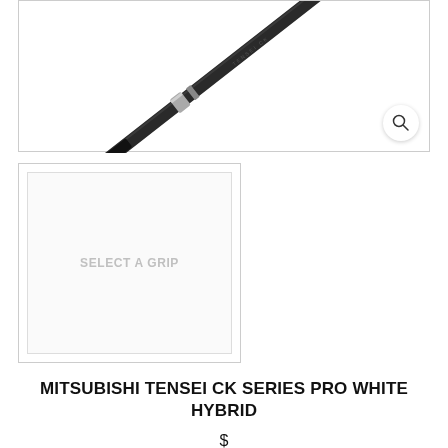[Figure (photo): A golf shaft (Mitsubishi Tensei CK Series Pro White Hybrid) shown diagonally against a white background, dark/black shaft with silver band detail near the tip]
[Figure (photo): Grip selector thumbnail placeholder box with text 'SELECT A GRIP' centered in light gray on a near-white background with a light border]
MITSUBISHI TENSEI CK SERIES PRO WHITE HYBRID